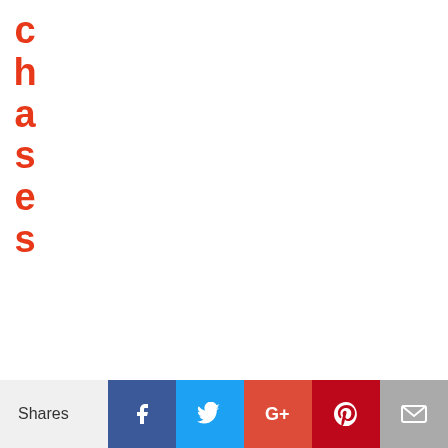chases
| JACK |
| JACK IN THE BOX INC |
| $134.2 |
| 2.8% |
| ZBH |
Shares